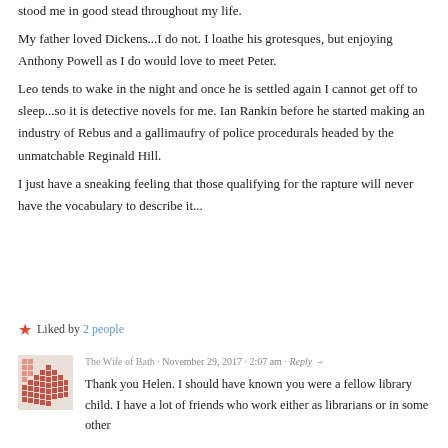stood me in good stead throughout my life.
My father loved Dickens...I do not. I loathe his grotesques, but enjoying Anthony Powell as I do would love to meet Peter.
Leo tends to wake in the night and once he is settled again I cannot get off to sleep...so it is detective novels for me. Ian Rankin before he started making an industry of Rebus and a gallimaufry of police procedurals headed by the unmatchable Reginald Hill.
I just have a sneaking feeling that those qualifying for the rapture will never have the vocabulary to describe it...
★ Liked by 2 people
The Wife of Bath · November 29, 2017 · 2:07 am · Reply →
Thank you Helen. I should have known you were a fellow library child. I have a lot of friends who work either as librarians or in some other